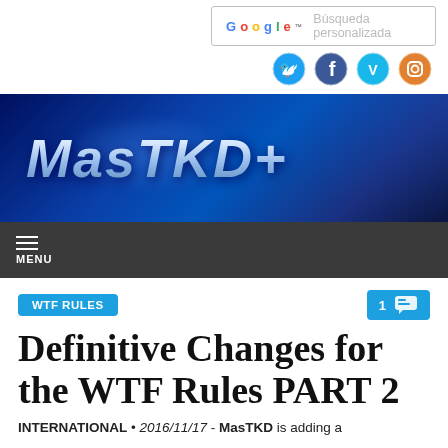[Figure (screenshot): Google custom search box with text 'Búsqueda personalizada']
[Figure (screenshot): Row of four social media icons: Twitter, Facebook, Vimeo, Instagram]
[Figure (logo): MasTKD+ website banner logo on dark blue gradient background]
MENU
WTF RULES
Definitive Changes for the WTF Rules PART 2
INTERNATIONAL • 2016/11/17 - MasTKD is adding a